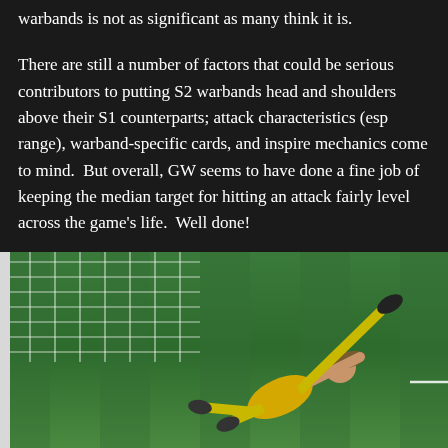warbands is not as significant as many think it is.
There are still a number of factors that could be serious contributors to putting S2 warbands head and shoulders above their S1 counterparts; attack characteristics (esp range), warband-specific cards, and inspire mechanics come to mind.  But overall, GW seems to have done a fine job of keeping the median target for hitting an attack fairly level across the game's life.  Well done!
Summary:
[Figure (photo): A soccer goalkeeper in a yellow jersey diving to make a save near the goal net, with a green grass field in the background.]